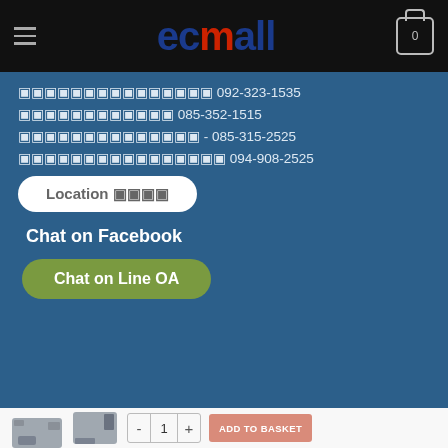[Figure (logo): ECmall logo with hamburger menu and cart icon on black header bar]
ติดต่อสอบถามสินค้า 092-323-1535
สั่งซื้อสินค้า 085-352-1515
บริการหลังการขาย - 085-315-2525
แจ้งปัญหาการใช้งาน 094-908-2525
Location แผนที่
Chat on Facebook
Chat on Line OA
[Figure (photo): Two small gray electronic converter/adapter devices shown as product thumbnails]
ADD TO BASKET